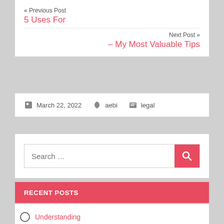« Previous Post
5 Uses For
Next Post »
– My Most Valuable Tips
March 22, 2022   aebi   legal
Search …
RECENT POSTS
Understanding
Getting Creative With Advice